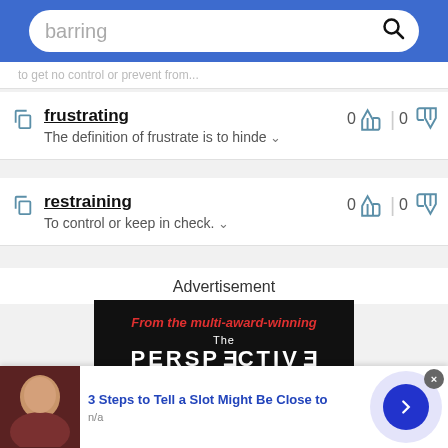barring [search box]
to get no control or prevent from...
frustrating
The definition of frustrate is to hinde...
restraining
To control or keep in check.
Advertisement
[Figure (photo): Advertisement banner: From the multi-award-winning The PERSPECTIVE]
3 Steps to Tell a Slot Might Be Close to
n/a